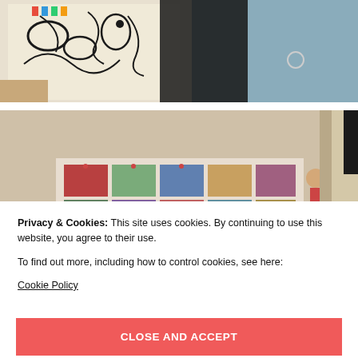[Figure (photo): Top portion of photo showing a patterned fabric bag (black and white with colorful accents) on a grey textured surface with a black jacket/clothing item]
[Figure (photo): Middle photo showing a room interior with a bulletin/mood board covered in photos and papers attached to a beige wall, with a doorway on the right]
Privacy & Cookies: This site uses cookies. By continuing to use this website, you agree to their use.
To find out more, including how to control cookies, see here:
Cookie Policy
[Figure (photo): Bottom strip showing partial view of another photo (grey/white tones)]